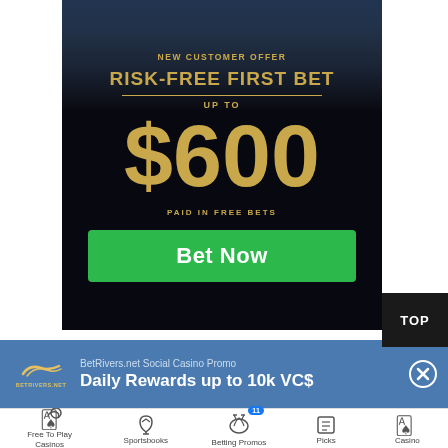[Figure (infographic): BetRivers sportsbook advertisement: dark background with person in background, gold text reading 'NEW CUSTOMER OFFER', 'RISK-FREE FIRST BET', 'UP TO', '$600', 'PAID IN FREE BETS', green 'Bet Now' button, and dark 'TOP' button.]
BetRivers.net Social Casino Promo
Daily Rewards up to 10k VC$
Free To Play Casinos
Sportsbooks
Betting Promos
Picks
Casino